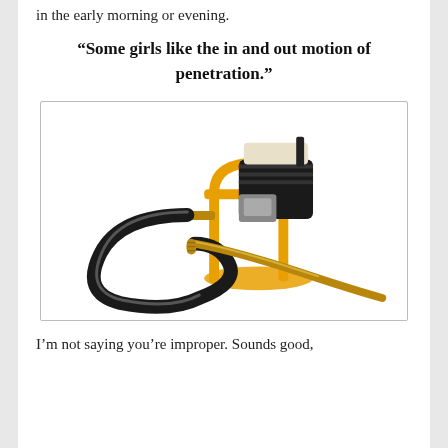in the early morning or evening.
“Some girls like the in and out motion of penetration.”
[Figure (photo): A concrete vibrator / poker machine with an orange metal frame, black engine on top, and a long gold/brass vibrator probe connected by a black flexible hose, on a white background.]
I’m not saying you’re improper. Sounds good,